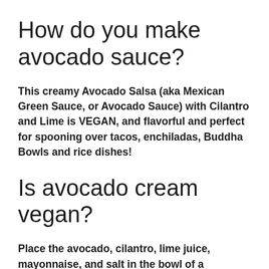How do you make avocado sauce?
This creamy Avocado Salsa (aka Mexican Green Sauce, or Avocado Sauce) with Cilantro and Lime is VEGAN, and flavorful and perfect for spooning over tacos, enchiladas, Buddha Bowls and rice dishes!
Is avocado cream vegan?
Place the avocado, cilantro, lime juice, mayonnaise, and salt in the bowl of a